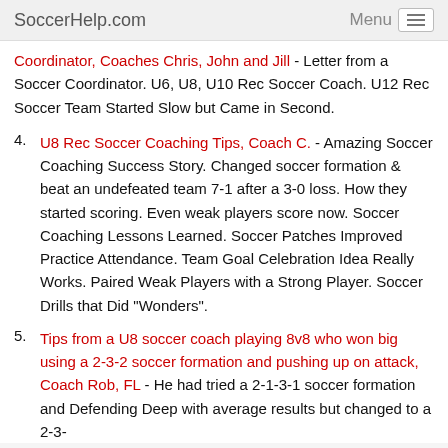SoccerHelp.com   Menu
Coordinator, Coaches Chris, John and Jill - Letter from a Soccer Coordinator. U6, U8, U10 Rec Soccer Coach. U12 Rec Soccer Team Started Slow but Came in Second.
4. U8 Rec Soccer Coaching Tips, Coach C. - Amazing Soccer Coaching Success Story. Changed soccer formation & beat an undefeated team 7-1 after a 3-0 loss. How they started scoring. Even weak players score now. Soccer Coaching Lessons Learned. Soccer Patches Improved Practice Attendance. Team Goal Celebration Idea Really Works. Paired Weak Players with a Strong Player. Soccer Drills that Did "Wonders".
5. Tips from a U8 soccer coach playing 8v8 who won big using a 2-3-2 soccer formation and pushing up on attack, Coach Rob, FL - He had tried a 2-1-3-1 soccer formation and Defending Deep with average results but changed to a 2-3-